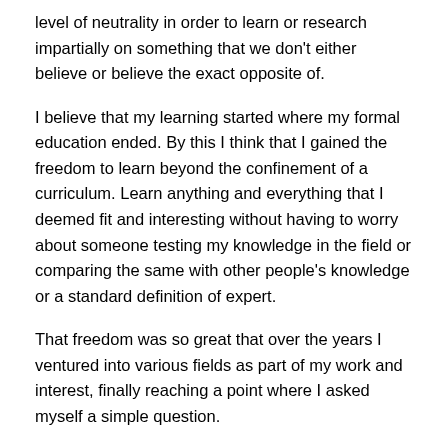level of neutrality in order to learn or research impartially on something that we don't either believe or believe the exact opposite of.
I believe that my learning started where my formal education ended. By this I think that I gained the freedom to learn beyond the confinement of a curriculum. Learn anything and everything that I deemed fit and interesting without having to worry about someone testing my knowledge in the field or comparing the same with other people's knowledge or a standard definition of expert.
That freedom was so great that over the years I ventured into various fields as part of my work and interest, finally reaching a point where I asked myself a simple question.
Has my learning been orchestrated by some convictions that my formal education bestowed upon me?
By formal education I don't just consider my primary education or college education but also what I have been taught as part of my upbringing by my family, elders, community and my